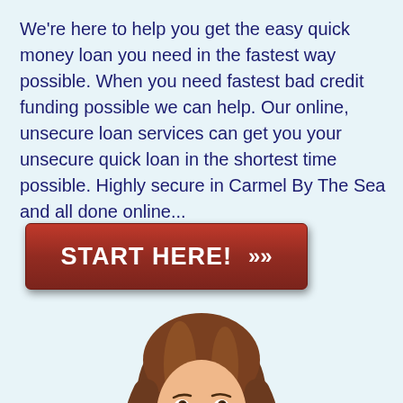We're here to help you get the easy quick money loan you need in the fastest way possible. When you need fastest bad credit funding possible we can help. Our online, unsecure loan services can get you your unsecure quick loan in the shortest time possible. Highly secure in Carmel By The Sea and all done online...
[Figure (other): Red button with white text 'START HERE!' and double chevron arrows >>]
[Figure (photo): Photo of a smiling young woman with long brown hair, cropped from shoulders up]